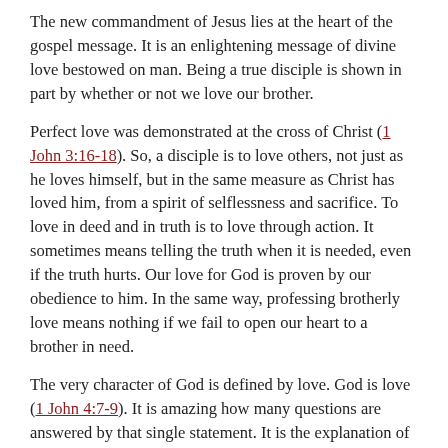The new commandment of Jesus lies at the heart of the gospel message. It is an enlightening message of divine love bestowed on man. Being a true disciple is shown in part by whether or not we love our brother.
Perfect love was demonstrated at the cross of Christ (1 John 3:16-18). So, a disciple is to love others, not just as he loves himself, but in the same measure as Christ has loved him, from a spirit of selflessness and sacrifice. To love in deed and in truth is to love through action. It sometimes means telling the truth when it is needed, even if the truth hurts. Our love for God is proven by our obedience to him. In the same way, professing brotherly love means nothing if we fail to open our heart to a brother in need.
The very character of God is defined by love. God is love (1 John 4:7-9). It is amazing how many questions are answered by that single statement. It is the explanation of creation, of freewill, of providence, of redemption, and of the life beyond. Loving one another is one of the ways we show that we truly know God.
Dan Petty